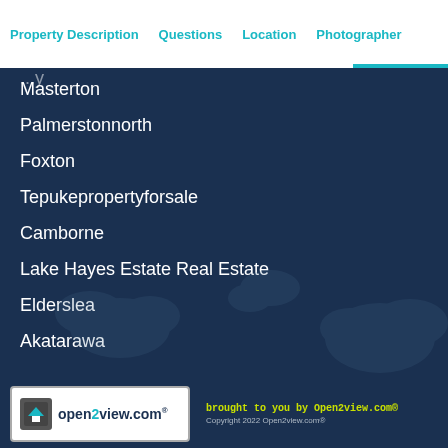Property Description   Questions   Location   Photographer
Masterton
Palmerstonnorth
Foxton
Tepukepropertyforsale
Camborne
Lake Hayes Estate Real Estate
Elderslea
Akatarawa
open2view.com   brought to you by Open2view.com®   Copyright 2022 Open2view.com®